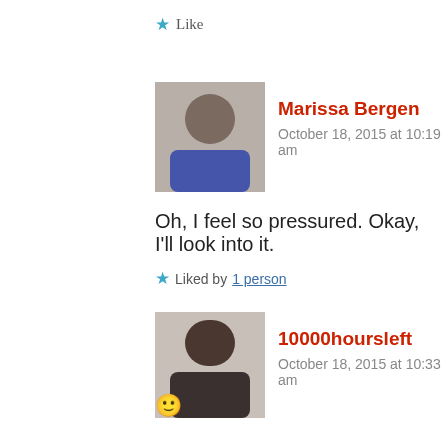★ Like
[Figure (photo): Avatar photo of Marissa Bergen]
Marissa Bergen
October 18, 2015 at 10:19 am
Oh, I feel so pressured. Okay, I'll look into it.
★ Liked by 1 person
[Figure (photo): Avatar photo of 10000hoursleft]
10000hoursleft
October 18, 2015 at 10:33 am
🙂